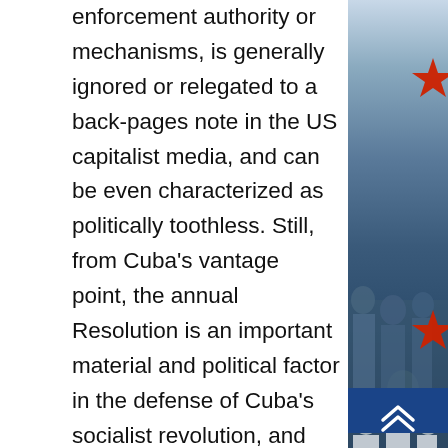enforcement authority or mechanisms, is generally ignored or relegated to a back-pages note in the US capitalist media, and can be even characterized as politically toothless. Still, from Cuba's vantage point, the annual Resolution is an important material and political factor in the defense of Cuba's socialist revolution, and registers an objective marker in the relationship of political forces in the world and is a material factor in the political limitations on direct US aggression and the permanent world pressure to crush the blockade in all its forms once and for all in world public opinion. It can fairly be said that the US blockade of Cuba is universally
[Figure (photo): Background photo of people, likely a crowd or audience, with red stars and blue/red decorative elements on the right side of the page]